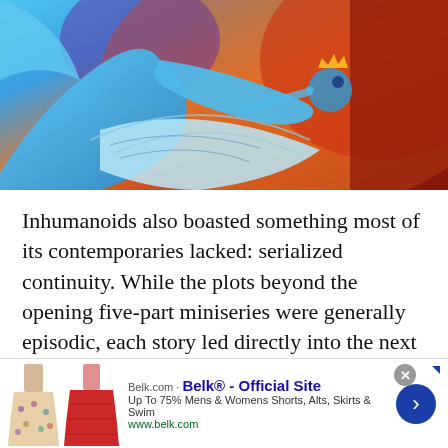[Figure (illustration): Colorful animated scene with blue and teal creature/character shapes against orange, red, and brown background — appears to be from the Inhumanoids animated series]
Inhumanoids also boasted something most of its contemporaries lacked: serialized continuity. While the plots beyond the opening five-part miniseries were generally episodic, each story led directly into the next and the series had to be watched in order. Something that happened in one episode would have consequences two or three episodes later. Characters and their
[Figure (infographic): Advertisement banner for Belk.com — Official Site. Shows two models wearing skirts. Text: 'Up To 75% Mens & Womens Shorts, Alts, Skirts & Swim' and 'www.belk.com'. Blue circular arrow button on the right. Close button (X) in top right corner.]